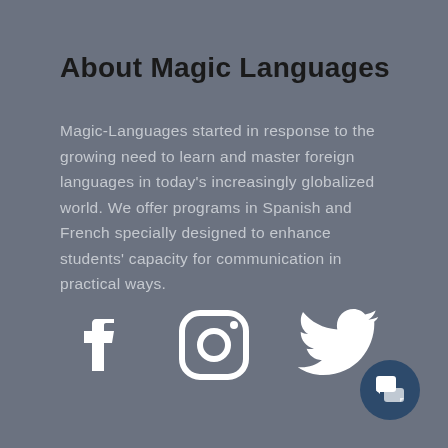About Magic Languages
Magic-Languages started in response to the growing need to learn and master foreign languages in today's increasingly globalized world. We offer programs in Spanish and French specially designed to enhance students' capacity for communication in practical ways.
[Figure (illustration): Three social media icons in white: Facebook (f logo), Instagram (camera outline), Twitter (bird logo)]
[Figure (illustration): Chat/message button icon in dark blue circle, bottom right corner]